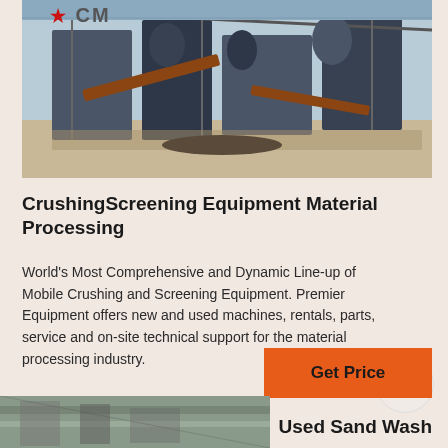[Figure (photo): Industrial crushing and screening equipment machinery at an outdoor worksite, with steel structures, conveyors, and mechanical components visible.]
CrushingScreening Equipment Material Processing
World's Most Comprehensive and Dynamic Line-up of Mobile Crushing and Screening Equipment. Premier Equipment offers new and used machines, rentals, parts, service and on-site technical support for the material processing industry.
[Figure (photo): Partial view of a sand washing facility or conveyor structure interior.]
Used Sand Wash